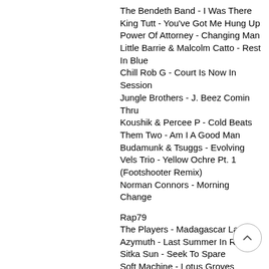The Bendeth Band - I Was There
King Tutt - You've Got Me Hung Up
Power Of Attorney - Changing Man
Little Barrie & Malcolm Catto - Rest In Blue
Chill Rob G - Court Is Now In Session
Jungle Brothers - J. Beez Comin Thru
Koushik & Percee P - Cold Beats
Them Two - Am I A Good Man
Budamunk & Tsuggs - Evolving
Vels Trio - Yellow Ochre Pt. 1 (Footshooter Remix)
Norman Connors - Morning Change
Rap79
The Players - Madagascar Lady
Azymuth  - Last Summer In Rio
Sitka Sun - Seek To Spare
Soft Machine - Lotus Groves
Bob Shaut - Serenity
Blue Cheer - Babaji (Twilight Raga)
Salvation - She Said Yeah
Talking Heads - This Must Be The